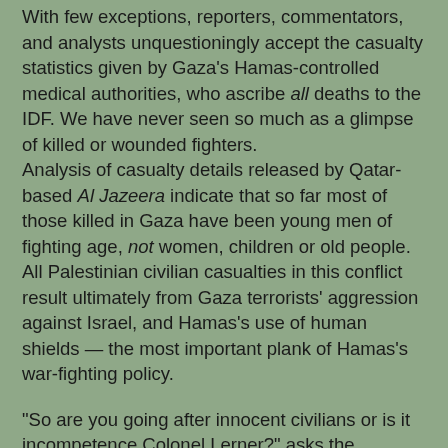With few exceptions, reporters, commentators, and analysts unquestioningly accept the casualty statistics given by Gaza's Hamas-controlled medical authorities, who ascribe all deaths to the IDF. We have never seen so much as a glimpse of killed or wounded fighters. Analysis of casualty details released by Qatar-based Al Jazeera indicate that so far most of those killed in Gaza have been young men of fighting age, not women, children or old people. All Palestinian civilian casualties in this conflict result ultimately from Gaza terrorists' aggression against Israel, and Hamas's use of human shields — the most important plank of Hamas's war-fighting policy.
"So are you going after innocent civilians or is it incompetence Colonel Lerner?" asks the interviewer, her face contorted with a contempt apparently reserved only for Israelis. Such shrill disrespect hurled at an American or British officer would alienate viewers, and, at an Arab commander, provoke accusations of racism.